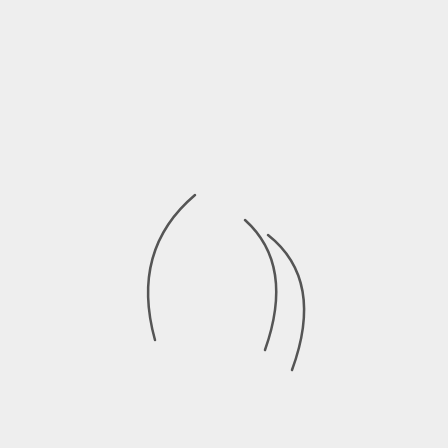[Figure (illustration): A minimalist icon consisting of curved arc strokes on a light gray background. On the left side, a single open parenthesis arc curves from upper-right to lower-right. On the right side, two concentric parenthesis-like arcs suggest a sound or signal wave. Together they resemble an audio or wireless signal symbol.]